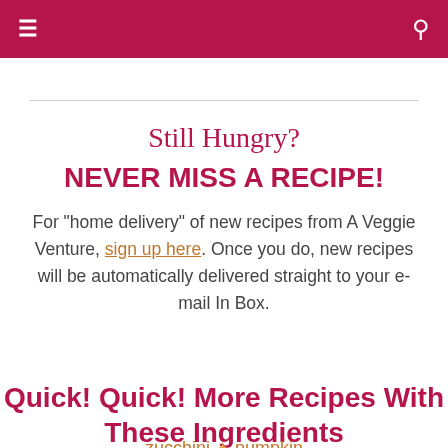≡  🔍
Still Hungry?
NEVER MISS A RECIPE!
For "home delivery" of new recipes from A Veggie Venture, sign up here. Once you do, new recipes will be automatically delivered straight to your e-mail In Box.
Quick! Quick! More Recipes With These Ingredients
zucchini ✦ pumpkin